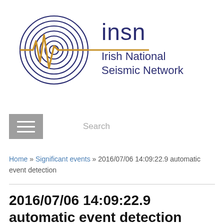[Figure (logo): Irish National Seismic Network (INSN) logo with spiral seismograph graphic and text 'insn Irish National Seismic Network']
Search
Home » Significant events » 2016/07/06 14:09:22.9 automatic event detection
2016/07/06 14:09:22.9 automatic event detection